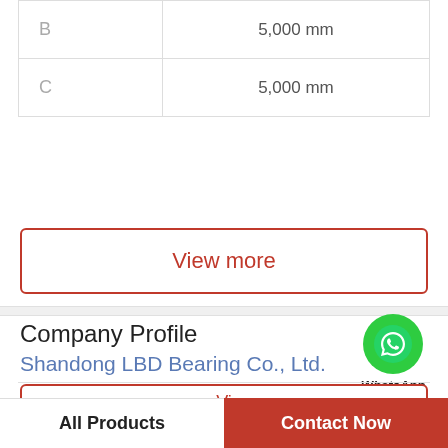|  |  |
| --- | --- |
| B | 5,000 mm |
| C | 5,000 mm |
View more
Company Profile
WhatsApp Online
Shandong LBD Bearing Co., Ltd.
Worktime  9:00-18:00（Beijing time）
Phone  86-02-7233546
View
All Products   Contact Now